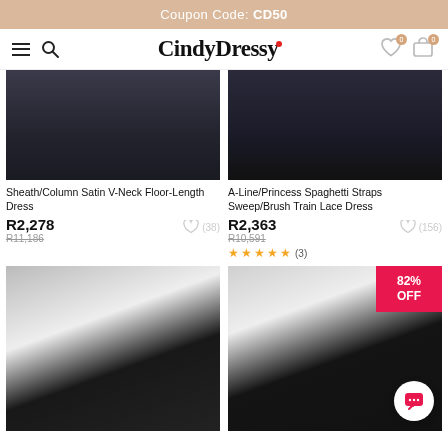Coupon Code: CD50
[Figure (screenshot): CindyDressy navigation bar with hamburger menu, search icon, logo, heart icon (0), and cart icon (0)]
[Figure (photo): Sheath/Column Satin V-Neck Floor-Length Dress product photo (dark dress, bottom portion)]
Sheath/Column Satin V-Neck Floor-Length Dress
R2,278
R11,186
(38)
[Figure (photo): A-Line/Princess Spaghetti Straps Sweep/Brush Train Lace Dress product photo (dark dress with lace, bottom portion)]
A-Line/Princess Spaghetti Straps Sweep/Brush Train Lace Dress
R2,363
R10,591
(156)
★★★★★ (3)
[Figure (photo): Black and white formal gown product photo, model wearing spaghetti strap dress with sparkle embellishments]
[Figure (photo): Dark sleeveless formal gown with embellished bodice, model posing, 82% OFF sale badge in top right corner]